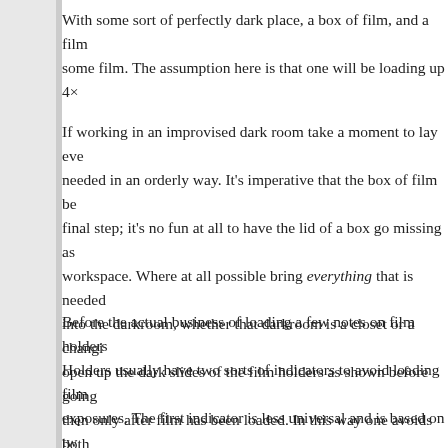With some sort of perfectly dark place, a box of film, and a film some film. The assumption here is that one will be loading up 4×
If working in an improvised dark room take a moment to lay eve needed in an orderly way. It's imperative that the box of film be final step; it's no fun at all to have the lid of a box go missing as workspace. Where at all possible bring everything that is needed into the darkroom, whether that darkroom is a closet or a changi open up the dark slides of the film holders as shown before going then only after film has been loaded. In this way one avoids both wasting time trying to load a sheet in a full holder.
Before the actual business of loading a few notes on film holders Holders usually have two sorts of indicators to avoid loading film exposures. The first indicator is less universal and is based on tw One side of the dark slides handle is apt to be painted white or m By convention this side is placed facing out when the film is un- light. After exposure the dark slide is placed back with the oppos out; rds, indicating that the film has been exposed and should